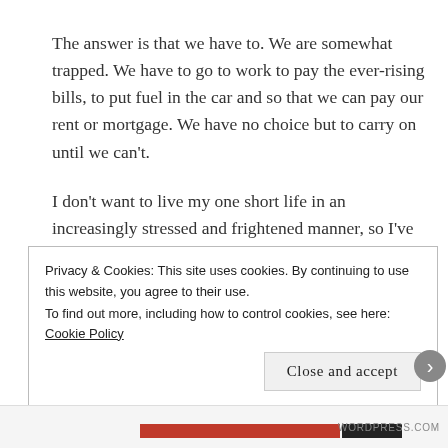The answer is that we have to. We are somewhat trapped. We have to go to work to pay the ever-rising bills, to put fuel in the car and so that we can pay our rent or mortgage. We have no choice but to carry on until we can't.
I don't want to live my one short life in an increasingly stressed and frightened manner, so I've been trying to get to grips with all this, for my own sake, and for my kids. I've been reminding myself that while so
Privacy & Cookies: This site uses cookies. By continuing to use this website, you agree to their use.
To find out more, including how to control cookies, see here: Cookie Policy
Close and accept